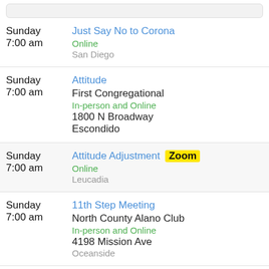Sunday 7:00 am | Just Say No to Corona | Online | San Diego
Sunday 7:00 am | Attitude | First Congregational | In-person and Online | 1800 N Broadway | Escondido
Sunday 7:00 am | Attitude Adjustment Zoom | Online | Leucadia
Sunday 7:00 am | 11th Step Meeting | North County Alano Club | In-person and Online | 4198 Mission Ave | Oceanside